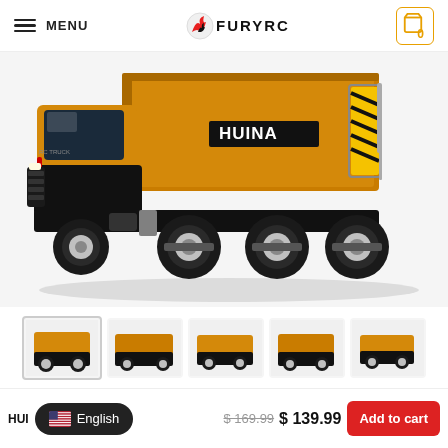MENU | FURYRC | Cart: 0
[Figure (photo): Large yellow HUINA RC dump truck toy, side view showing cab, dump bed with HUINA branding, and six large wheels on white/light gray background]
[Figure (photo): Thumbnail strip of 5 small images of the same HUINA RC dump truck from different angles]
HUI... (product title truncated) | English language selector | $ 169.99  $ 139.99 | Add to cart